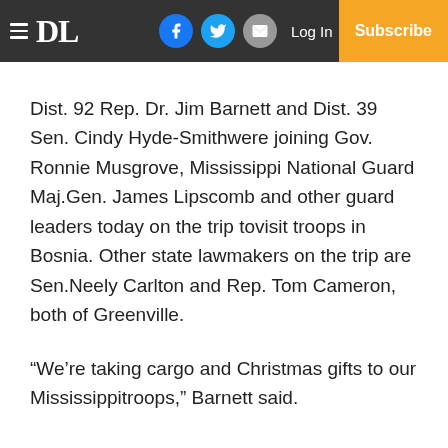DL | Log In | Subscribe
Dist. 92 Rep. Dr. Jim Barnett and Dist. 39 Sen. Cindy Hyde-Smithwere joining Gov. Ronnie Musgrove, Mississippi National Guard Maj.Gen. James Lipscomb and other guard leaders today on the trip tovisit troops in Bosnia. Other state lawmakers on the trip are Sen.Neely Carlton and Rep. Tom Cameron, both of Greenville.
“We’re taking cargo and Christmas gifts to our Mississippitroops,” Barnett said.